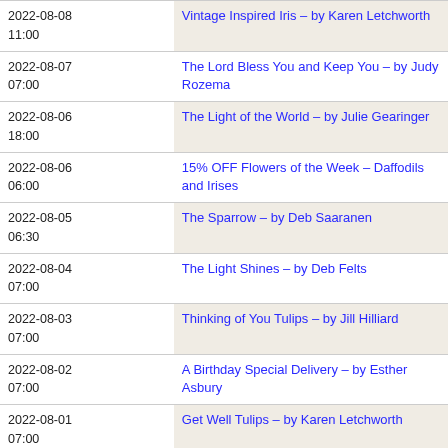| Date/Time | Title |
| --- | --- |
| 2022-08-08
11:00 | Vintage Inspired Iris – by Karen Letchworth |
| 2022-08-07
07:00 | The Lord Bless You and Keep You – by Judy Rozema |
| 2022-08-06
18:00 | The Light of the World – by Julie Gearinger |
| 2022-08-06
06:00 | 15% OFF Flowers of the Week – Daffodils and Irises |
| 2022-08-05
06:30 | The Sparrow – by Deb Saaranen |
| 2022-08-04
07:00 | The Light Shines – by Deb Felts |
| 2022-08-03
07:00 | Thinking of You Tulips – by Jill Hilliard |
| 2022-08-02
07:00 | A Birthday Special Delivery – by Esther Asbury |
| 2022-08-01
07:00 | Get Well Tulips – by Karen Letchworth |